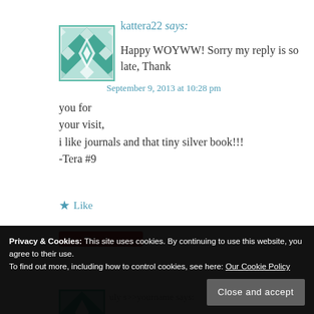[Figure (illustration): Teal/mint geometric quilt-pattern avatar image for user kattera22]
kattera22 says:
Happy WOYWW! Sorry my reply is so late, Thank you for your visit,
i like journals and that tiny silver book!!!
-Tera #9
September 9, 2013 at 10:28 pm
★ Like
Privacy & Cookies: This site uses cookies. By continuing to use this website, you agree to their use.
To find out more, including how to control cookies, see here: Our Cookie Policy
Close and accept